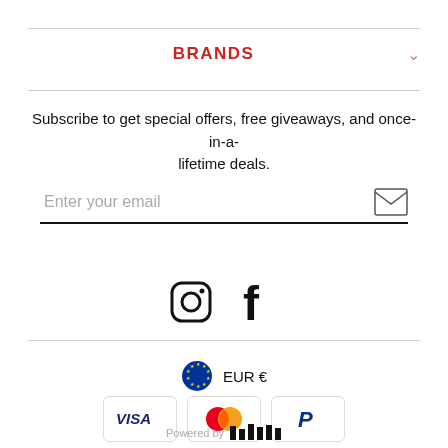BRANDS
Subscribe to get special offers, free giveaways, and once-in-a-lifetime deals.
Enter your email
[Figure (infographic): Instagram and Facebook social media icons]
[Figure (logo): EU flag icon with EUR € currency label]
[Figure (logo): Payment method logos: VISA, Mastercard, PayPal]
[Figure (logo): Powered by logo with stylized text mark]